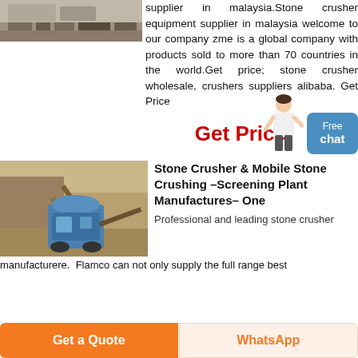[Figure (photo): Industrial machinery / stone crusher equipment at a site, partial view at top of page]
supplier in malaysia.Stone crusher equipment supplier in malaysia welcome to our company zme is a global company with products sold to more than 70 countries in the world.Get price; stone crusher wholesale, crushers suppliers alibaba. Get Price
Get Price
[Figure (photo): Blue stone crusher machine in an outdoor quarry/mining site with conveyors and rocky terrain]
Stone Crusher & Mobile Stone Crushing –Screening Plant Manufactures– One
Professional and leading stone crusher
manufacturere.  Flamco can not only supply the full range best
Get a Quote
WhatsApp